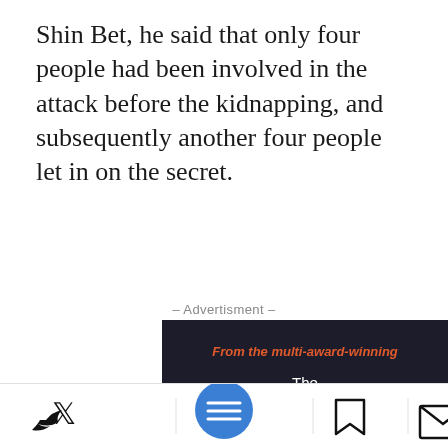Shin Bet, he said that only four people had been involved in the attack before the kidnapping, and subsequently another four people let in on the secret.
- Advertisment -
[Figure (illustration): Advertisement for 'The Perspective' book — 'From the multi-award-winning The PERSPECTIVE' with book cover photo showing 'WHAT THE HELL...' text on book, tagline 'The 100 debates that govern your life.' and 'Available on Amazon' button on dark background.]
[Figure (other): Bottom mobile toolbar with Twitter, Facebook, menu (blue FAB), bookmark, and email icons.]